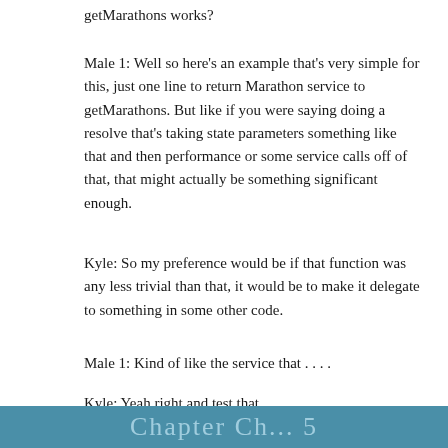getMarathons works?
Male 1: Well so here's an example that's very simple for this, just one line to return Marathon service to getMarathons. But like if you were saying doing a resolve that's taking state parameters something like that and then performance or some service calls off of that, that might actually be something significant enough.
Kyle: So my preference would be if that function was any less trivial than that, it would be to make it delegate to something in some other code.
Male 1: Kind of like the service that . . . .
Kyle: Yeah right and test that.
[Figure (other): Teal/blue banner footer bar with partial text visible]